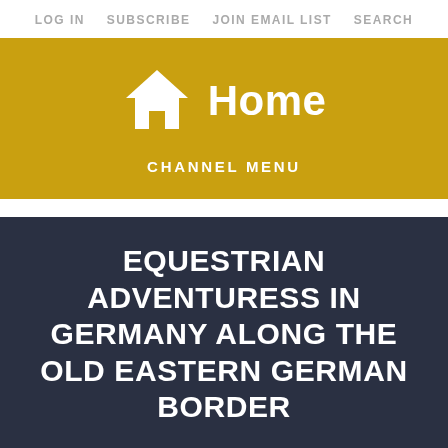LOG IN   SUBSCRIBE   JOIN EMAIL LIST   SEARCH
[Figure (logo): White house/home icon with the word Home in white bold text on a gold/yellow background banner, with CHANNEL MENU text below]
EQUESTRIAN ADVENTURESS IN GERMANY ALONG THE OLD EASTERN GERMAN BORDER
RETURN TO THE CHANNEL HOME PAGE